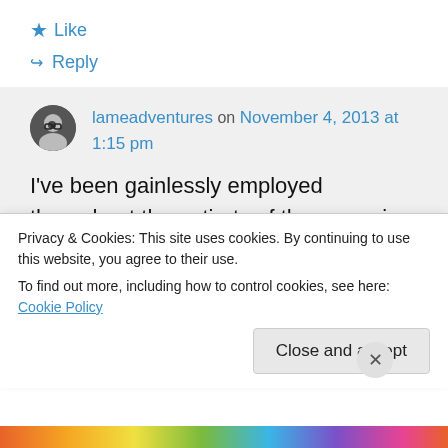★ Like
↪ Reply
lameadventures on November 4, 2013 at 1:15 pm
I've been gainlessly employed throughout the entirety of the recession and this anemic recovery. Not having to go on the dole is a good thing. But, after enduring so much less in compensation for almost five
Privacy & Cookies: This site uses cookies. By continuing to use this website, you agree to their use.
To find out more, including how to control cookies, see here: Cookie Policy
Close and accept